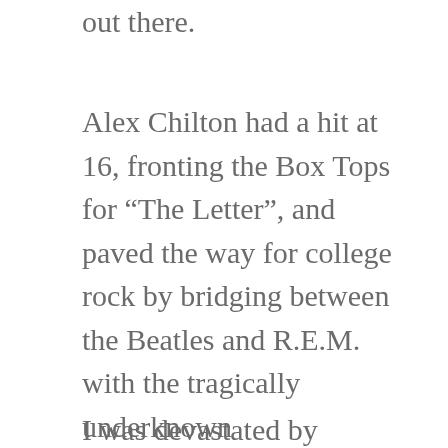out there.
Alex Chilton had a hit at 16, fronting the Box Tops for “The Letter”, and paved the way for college rock by bridging between the Beatles and R.E.M. with the tragically underknown Memphis/Ardent Studios band Big Star. (You actually know them; “In The Street”, a Big Star song, is the theme music for That ‘70s Show, in the form of a Cheap Trick cover.) Big Star invented “power pop” and have been the soundtrack to my life countless hours and days over the last few years, after Patterson Hood of the Drive-By Truckers turned me on to them in 2008.
I was devastated by Chilton’s death; am devastated,